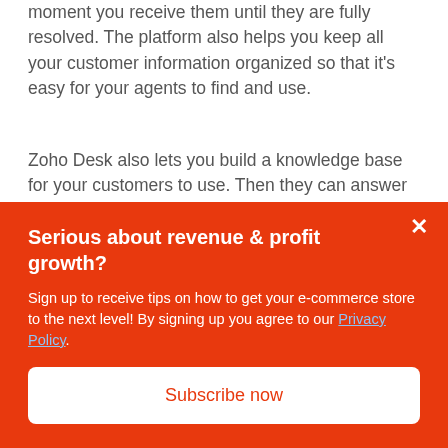moment you receive them until they are fully resolved. The platform also helps you keep all your customer information organized so that it's easy for your agents to find and use.
Zoho Desk also lets you build a knowledge base for your customers to use. Then they can answer their own questions without interacting with an agent. You can also easily integrate Zoho Desk with other tools your business uses, like Slack, Salesforce, and more.
HubSpot Service Hub vs.
Serious about revenue & profit growth?
Sign up to receive tips on how to get your e-commerce store to the next level! By signing up you agree to our Privacy Policy.
Subscribe now